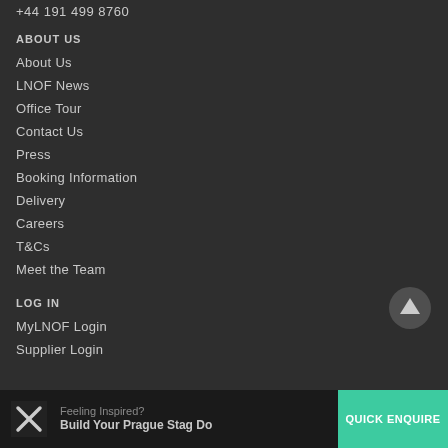+44 191 499 8760
ABOUT US
About Us
LNOF News
Office Tour
Contact Us
Press
Booking Information
Delivery
Careers
T&Cs
Meet the Team
LOG IN
MyLNOF Login
Supplier Login
Feeling Inspired? Build Your Prague Stag Do
QUICK ENQUIRE